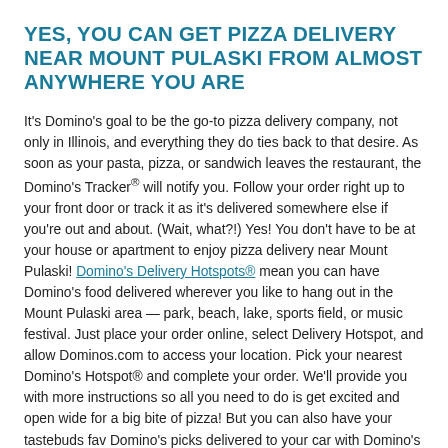YES, YOU CAN GET PIZZA DELIVERY NEAR MOUNT PULASKI FROM ALMOST ANYWHERE YOU ARE
It's Domino's goal to be the go-to pizza delivery company, not only in Illinois, and everything they do ties back to that desire. As soon as your pasta, pizza, or sandwich leaves the restaurant, the Domino's Tracker® will notify you. Follow your order right up to your front door or track it as it's delivered somewhere else if you're out and about. (Wait, what?!) Yes! You don't have to be at your house or apartment to enjoy pizza delivery near Mount Pulaski! Domino's Delivery Hotspots® mean you can have Domino's food delivered wherever you like to hang out in the Mount Pulaski area — park, beach, lake, sports field, or music festival. Just place your order online, select Delivery Hotspot, and allow Dominos.com to access your location. Pick your nearest Domino's Hotspot® and complete your order. We'll provide you with more instructions so all you need to do is get excited and open wide for a big bite of pizza! But you can also have your tastebuds fav Domino's picks delivered to your car with Domino's Carside Delivery™. We've dubbed it carryout, delivered. Place your carryout order as you normally would and head our way...